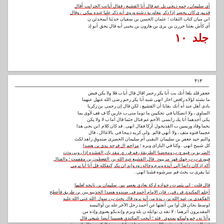Arabic manuscript text (top card) with underlined passages in red, ending with red bold title جلد ۱۰
جلد ۱۰
۴۱۳
Arabic manuscript text (bottom card) with multiple underlined passages in red ink throughout the body